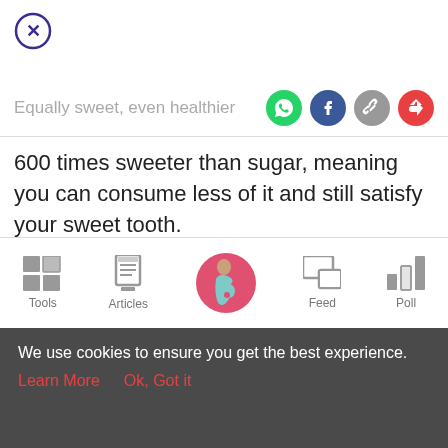[Figure (illustration): Close button — circle with X inside, dark purple outline]
Equally sweet, even healthier
[Figure (illustration): Four social share icons: WhatsApp (green), Facebook (blue), Copy link (gray), Share (red)]
600 times sweeter than sugar, meaning you can consume less of it and still satisfy your sweet tooth.
[Figure (illustration): Gray content image area placeholder]
[Figure (illustration): Bottom navigation bar with icons: Tools (grid), Articles (clipboard), center pregnant woman avatar (pink circle), Feed (speech bubbles), Poll (bar chart)]
We use cookies to ensure you get the best experience.
Learn More   Ok, Got it